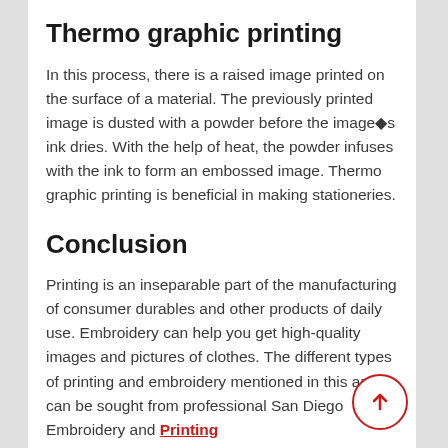Thermo graphic printing
In this process, there is a raised image printed on the surface of a material. The previously printed image is dusted with a powder before the image◈s ink dries. With the help of heat, the powder infuses with the ink to form an embossed image. Thermo graphic printing is beneficial in making stationeries.
Conclusion
Printing is an inseparable part of the manufacturing of consumer durables and other products of daily use. Embroidery can help you get high-quality images and pictures of clothes. The different types of printing and embroidery mentioned in this article can be sought from professional San Diego Embroidery and Printing